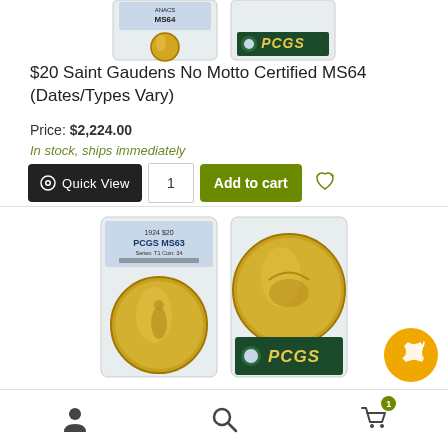[Figure (photo): Two PCGS-graded $20 Saint Gaudens No Motto gold coins in slabs, showing front and back]
$20 Saint Gaudens No Motto Certified MS64 (Dates/Types Vary)
Price: $2,224.00
In stock, ships immediately
Quick View  1  Add to cart
[Figure (photo): Two PCGS-graded $20 Saint Gaudens gold coins in slabs (PCGS MS63), showing front label side and reverse coin side]
$20 Saint Gaudens Certified MS63 (Dates/Types Vary)
User icon  Search icon  Cart (1)